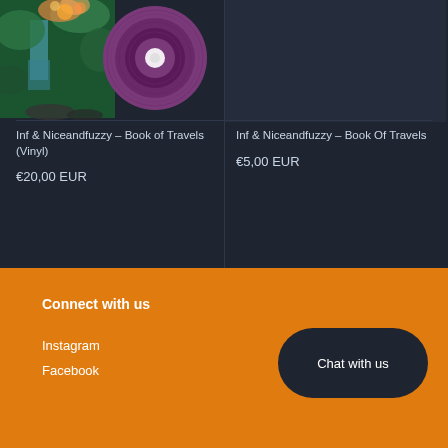[Figure (photo): Album cover for Inf & Niceandfuzzy - Book of Travels (Vinyl), showing a jungle waterfall scene with a purple vinyl record partially overlapping]
[Figure (photo): Empty dark placeholder image for Inf & Niceandfuzzy - Book Of Travels digital product]
Inf & Niceandfuzzy – Book of Travels (Vinyl)
€20,00 EUR
Inf & Niceandfuzzy – Book Of Travels
€5,00 EUR
Connect with us
Instagram
Facebook
Chat with us